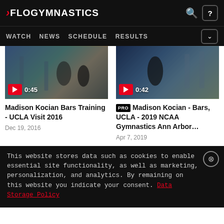FLOGYMNASTICS
WATCH  NEWS  SCHEDULE  RESULTS
[Figure (screenshot): Video thumbnail of gymnastics bars training at UCLA gym, duration 0:45]
Madison Kocian Bars Training - UCLA Visit 2016
Dec 19, 2016
[Figure (screenshot): Video thumbnail of gymnastics bars competition at NCAA event, duration 0:42]
PRO Madison Kocian - Bars, UCLA - 2019 NCAA Gymnastics Ann Arbor...
Apr 7, 2019
This website stores data such as cookies to enable essential site functionality, as well as marketing, personalization, and analytics. By remaining on this website you indicate your consent. Data Storage Policy